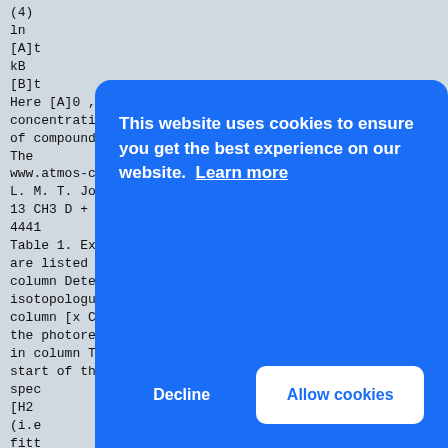(4)
ln
[A]t
kB
[B]t
Here [A]0 , [A]t , [B]0 , and [B]t represent the concentrations
of compounds A and B at times 0 and t, respectively. The
www.atmos-chem-phys.net/16/4439/2016/
L. M. T. Joelsson et al.: Kinetic isotope effect in
13 CH3 D + OH
4441
Table 1. Experimental setup. The experiment numbers are listed in column Exp., the detector is listed in column Detect., the heavy CH4
isotopologue included in the experiments is listed in column [x CH3 D], the mean measured temperatures in the photoreactor are listed
in column T , the H2 O vapor concentrations at the start of the experiments (t = 0) as obtained from spec
[H2
(i.e
fitt
12 C
(t =
in c
4
4 t=
CH4
= 0) as obtained from spectral fitting are listed in
column [x CH3 Dlt=0 . Note that, for
[Figure (other): Cookie consent banner overlay with blue background. Text reads: 'This website uses cookies to ensure you get the best experience on our website. Learn more'. Two buttons: 'Decline' and 'Allow cookies'.]